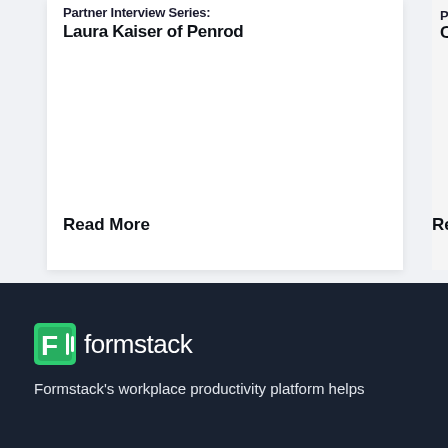Laura Kaiser of Penrod
Read More
Chris...
Read
[Figure (logo): Formstack logo with green icon and wordmark]
Formstack's workplace productivity platform helps